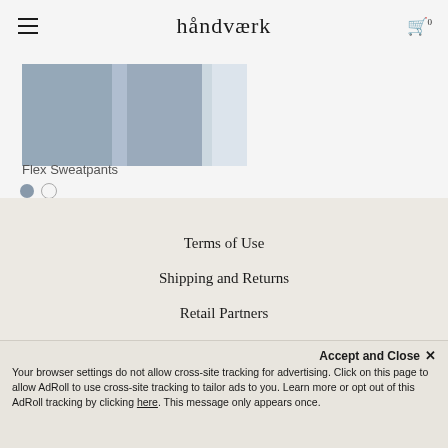håndværk
[Figure (photo): Cropped photo of a person wearing grey/blue Flex Sweatpants, showing the leg and waistband area against a light background.]
Flex Sweatpants
Color swatches: filled grey-blue circle, empty white circle
Terms of Use
Shipping and Returns
Retail Partners
Customer Care
Accept and Close ✕ Your browser settings do not allow cross-site tracking for advertising. Click on this page to allow AdRoll to use cross-site tracking to tailor ads to you. Learn more or opt out of this AdRoll tracking by clicking here. This message only appears once.